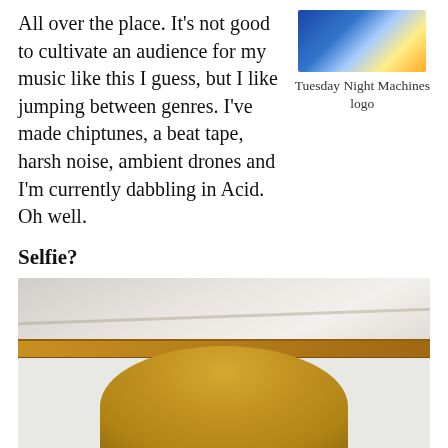All over the place. It's not good to cultivate an audience for my music like this I guess, but I like jumping between genres. I've made chiptunes, a beat tape, harsh noise, ambient drones and I'm currently dabbling in Acid. Oh well.
[Figure (logo): Tuesday Night Machines logo — colorful illustrated design]
Tuesday Night Machines logo
Selfie?
Sure, but I'm writing this on the couch and it's Sunday, so I look the part.
[Figure (photo): Photo showing what appears to be a wooden/yellow surface or hat, partially visible, taken on a couch]